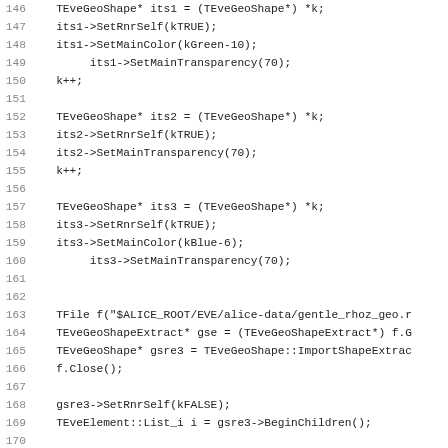Code listing lines 146-178, C++ source code for geometry shape manipulation in ALICE ROOT EVE framework